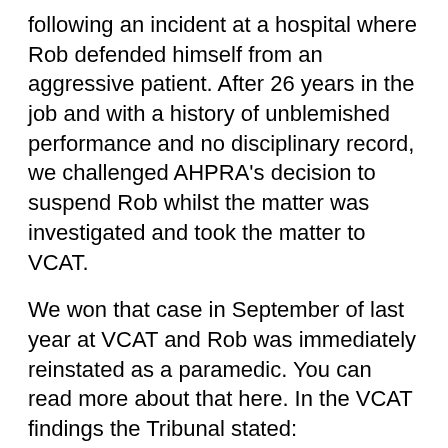following an incident at a hospital where Rob defended himself from an aggressive patient. After 26 years in the job and with a history of unblemished performance and no disciplinary record, we challenged AHPRA's decision to suspend Rob whilst the matter was investigated and took the matter to VCAT.
We won that case in September of last year at VCAT and Rob was immediately reinstated as a paramedic. You can read more about that here. In the VCAT findings the Tribunal stated:
“Mr Paton would over his long career have had to deal with heightened patients before. No evidence was led to suggest that he has any history whatsoever of using inappropriate force or restraint. The numerous testimonials placed before us suggest that the opposite is true – that is, that he has been an exemplary dedicated member of long distinguished in our service...”